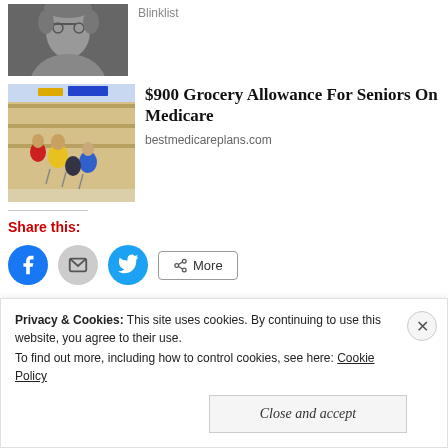[Figure (photo): Black and white photo of a man with glasses and long hair, partially cropped at top]
Blinklist
[Figure (photo): Photo of people with shopping carts in a grocery store, colorful scene with people in yellow and red jackets]
$900 Grocery Allowance For Seniors On Medicare
bestmedicareplans.com
Share this:
[Figure (other): Social share buttons: Facebook (blue circle), Email (grey circle), Twitter (blue circle), and More button]
Privacy & Cookies: This site uses cookies. By continuing to use this website, you agree to their use. To find out more, including how to control cookies, see here: Cookie Policy
Close and accept